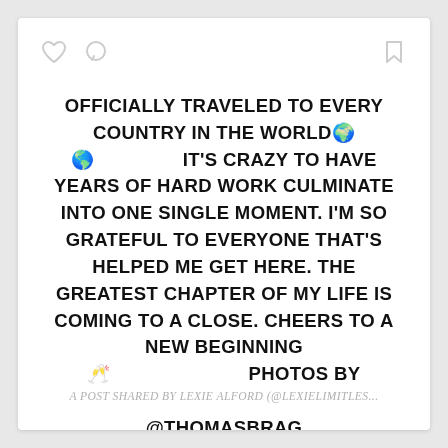[Figure (other): Social media post card with heart, comment bubble, and bookmark icons at top]
OFFICIALLY TRAVELED TO EVERY COUNTRY IN THE WORLD🌍🌎  IT'S CRAZY TO HAVE YEARS OF HARD WORK CULMINATE INTO ONE SINGLE MOMENT. I'M SO GRATEFUL TO EVERYONE THAT'S HELPED ME GET HERE. THE GREATEST CHAPTER OF MY LIFE IS COMING TO A CLOSE. CHEERS TO A NEW BEGINNING 🥂  PHOTOS BY @THOMASBRAG
A POST SHARED BY LEXIE ALFORD (@LEXIELIMITLES...